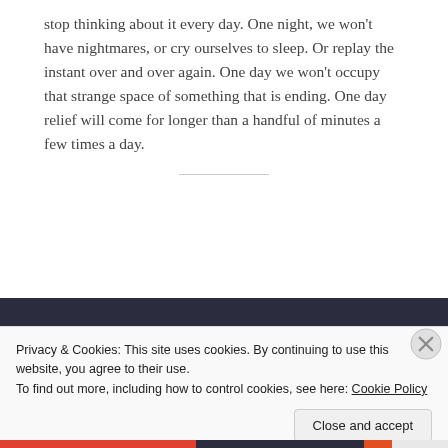stop thinking about it every day. One night, we won't have nightmares, or cry ourselves to sleep. Or replay the instant over and over again. One day we won't occupy that strange space of something that is ending. One day relief will come for longer than a handful of minutes a few times a day.
CREATE A FREE WEBSITE OR BLOG AT WORDPRESS.COM.
UP ↑
five years. It might be in two months. We might get
Advertisements
Privacy & Cookies: This site uses cookies. By continuing to use this website, you agree to their use.
To find out more, including how to control cookies, see here: Cookie Policy
Close and accept